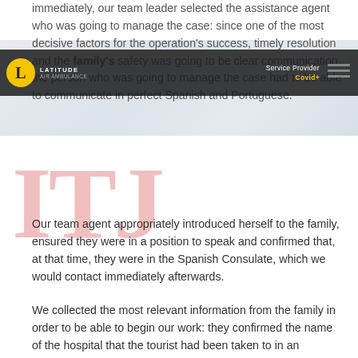immediately, our team leader selected the assistance agent who was going to manage the case: since one of the most decisive factors for the operation's success, timely resolution and the family's safety was going to be clear communication, the person who was going to manage the case had to be able to communicate in perfect Spanish and Portuguese.
[Figure (screenshot): Website header/navigation bar with Latitude Air Ambulance logo (gold circle with L), dark background, 'Service Provider' text in white, 'Covid+' in yellow, and a hamburger menu icon. Background shows a partial airplane image.]
Our team agent appropriately introduced herself to the family, ensured they were in a position to speak and confirmed that, at that time, they were in the Spanish Consulate, which we would contact immediately afterwards.
We collected the most relevant information from the family in order to be able to begin our work: they confirmed the name of the hospital that the tourist had been taken to in an ambulance before passing away, and where they wished her remains to be sent – an important piece of information